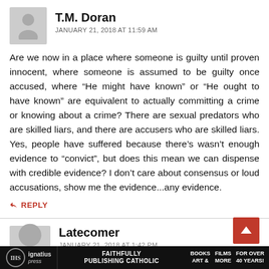[Figure (illustration): User avatar placeholder icon — grey square with white silhouette of a person]
T.M. Doran
JANUARY 21, 2018 AT 11:59 AM
Are we now in a place where someone is guilty until proven innocent, where someone is assumed to be guilty once accused, where “He might have known” or “He ought to have known” are equivalent to actually committing a crime or knowing about a crime? There are sexual predators who are skilled liars, and there are accusers who are skilled liars. Yes, people have suffered because there’s wasn’t enough evidence to “convict”, but does this mean we can dispense with credible evidence? I don’t care about consensus or loud accusations, show me the evidence...any evidence.
REPLY
[Figure (illustration): Second user avatar placeholder icon — grey square with white silhouette of a person]
Latecomer
JANUARY 21, 2018 AT 1:42 PM
Ignatius Press  FAITHFULLY PUBLISHING CATHOLIC  BOOKS FILMS ART & MORE  FOR OVER 40 YEARS!